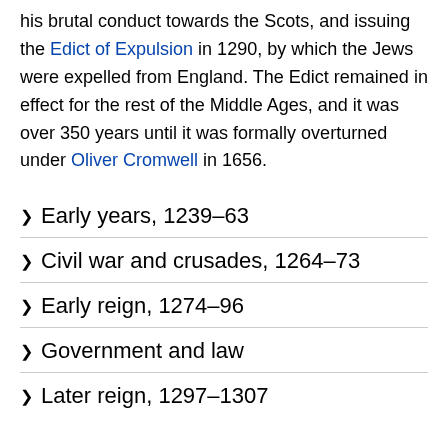his brutal conduct towards the Scots, and issuing the Edict of Expulsion in 1290, by which the Jews were expelled from England. The Edict remained in effect for the rest of the Middle Ages, and it was over 350 years until it was formally overturned under Oliver Cromwell in 1656.
Early years, 1239–63
Civil war and crusades, 1264–73
Early reign, 1274–96
Government and law
Later reign, 1297–1307